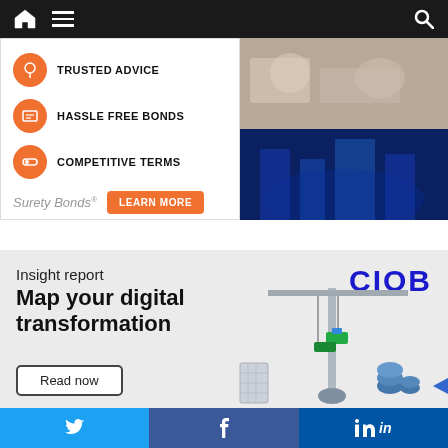Navigation bar with home, menu, and search icons
[Figure (infographic): Surety Bonds advertisement with orange icons for Trusted Advice, Hassle Free Bonds, Competitive Terms, and a Learn More button, alongside two photos of business people and a city building]
[Figure (infographic): CIOB Insight report advertisement: Map your digital transformation, with a crane illustration and Read now button]
Social share buttons: Twitter, Facebook, LinkedIn